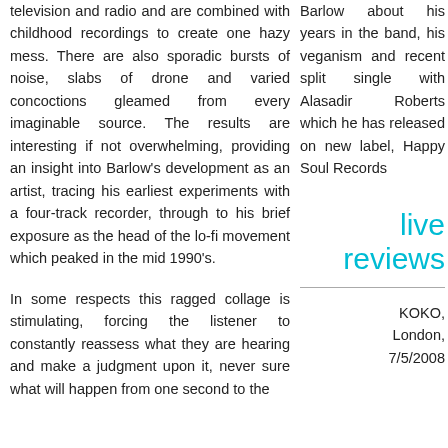television and radio and are combined with childhood recordings to create one hazy mess. There are also sporadic bursts of noise, slabs of drone and varied concoctions gleamed from every imaginable source. The results are interesting if not overwhelming, providing an insight into Barlow's development as an artist, tracing his earliest experiments with a four-track recorder, through to his brief exposure as the head of the lo-fi movement which peaked in the mid 1990's.
In some respects this ragged collage is stimulating, forcing the listener to constantly reassess what they are hearing and make a judgment upon it, never sure what will happen from one second to the
Barlow about his years in the band, his veganism and recent split single with Alasadir Roberts which he has released on new label, Happy Soul Records
live reviews
KOKO, London, 7/5/2008